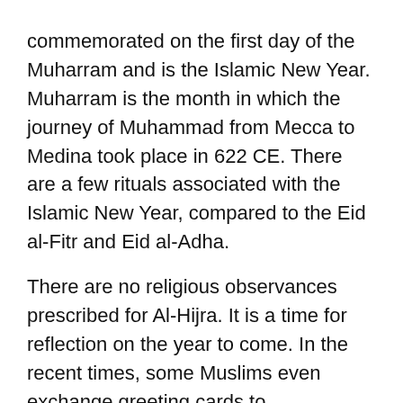commemorated on the first day of the Muharram and is the Islamic New Year. Muharram is the month in which the journey of Muhammad from Mecca to Medina took place in 622 CE. There are a few rituals associated with the Islamic New Year, compared to the Eid al-Fitr and Eid al-Adha.
There are no religious observances prescribed for Al-Hijra. It is a time for reflection on the year to come. In the recent times, some Muslims even exchange greeting cards to commemorate this holiday.
The Islamic Calendar
The Islamic Calendar consists 12 lunar months. Each month consists 29.5 days on an average and the year ultimately has 354 days. Each of the months, start with the viewing of the crescent moon or the �Hilal� with the bare eye. The